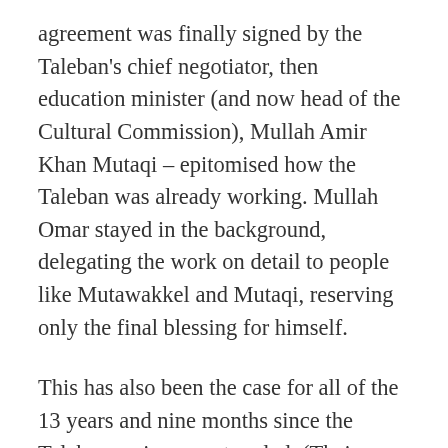agreement was finally signed by the Taleban's chief negotiator, then education minister (and now head of the Cultural Commission), Mullah Amir Khan Mutaqi – epitomised how the Taleban was already working. Mullah Omar stayed in the background, delegating the work on detail to people like Mutawakkel and Mutaqi, reserving only the final blessing for himself.
This has also been the case for all of the 13 years and nine months since the Taleban regime was toppled. (Their headquarters, Kandahar, fell in November 2001.) Mullah Omar has not been seen or heard of directly, not even by audio or video